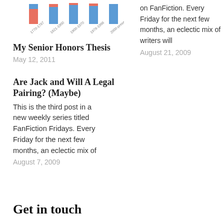[Figure (bar-chart): Partial bar chart visible at top left, showing stacked/grouped bars with blue and red colors, x-axis labels partially visible (1770-1787, 1821-1900, 1900-1970, 1978-1998, 2000-present)]
on FanFiction. Every Friday for the next few months, an eclectic mix of writers will
August 21, 2009
My Senior Honors Thesis
May 12, 2011
Are Jack and Will A Legal Pairing? (Maybe)
This is the third post in a new weekly series titled FanFiction Fridays. Every Friday for the next few months, an eclectic mix of
August 7, 2009
Get in touch